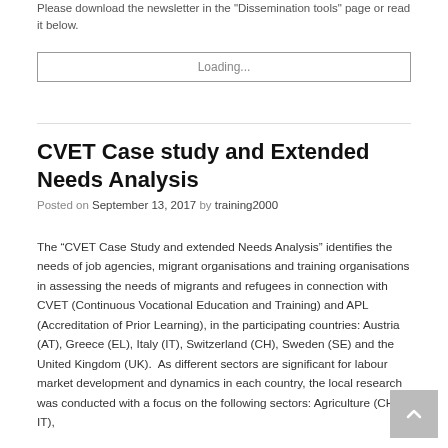Please download the newsletter in the "Dissemination tools" page or read it below.
[Figure (screenshot): Loading... progress bar / embedded document loading box]
CVET Case study and Extended Needs Analysis
Posted on September 13, 2017 by training2000
The “CVET Case Study and extended Needs Analysis” identifies the needs of job agencies, migrant organisations and training organisations in assessing the needs of migrants and refugees in connection with CVET (Continuous Vocational Education and Training) and APL (Accreditation of Prior Learning), in the participating countries: Austria (AT), Greece (EL), Italy (IT), Switzerland (CH), Sweden (SE) and the United Kingdom (UK). As different sectors are significant for labour market development and dynamics in each country, the local research was conducted with a focus on the following sectors: Agriculture (CH, IT),